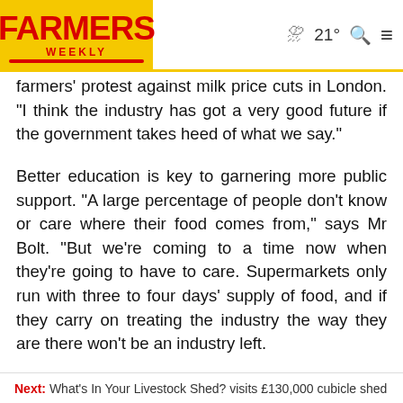FARMERS WEEKLY | 21° weather
farmers' protest against milk price cuts in London. “I think the industry has got a very good future if the government takes heed of what we say.”
Better education is key to garnering more public support. “A large percentage of people don’t know or care where their food comes from,” says Mr Bolt. “But we’re coming to a time now when they’re going to have to care. Supermarkets only run with three to four days’ supply of food, and if they carry on treating the industry the way they are there won’t be an industry left.
“We need a lot less talk and more action from our
Next: What’s In Your Livestock Shed? visits £130,000 cubicle shed